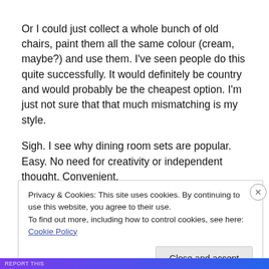Or I could just collect a whole bunch of old chairs, paint them all the same colour (cream, maybe?) and use them. I've seen people do this quite successfully. It would definitely be country and would probably be the cheapest option. I'm just not sure that that much mismatching is my style.
Sigh. I see why dining room sets are popular. Easy. No need for creativity or independent thought. Convenient.
Privacy & Cookies: This site uses cookies. By continuing to use this website, you agree to their use.
To find out more, including how to control cookies, see here: Cookie Policy